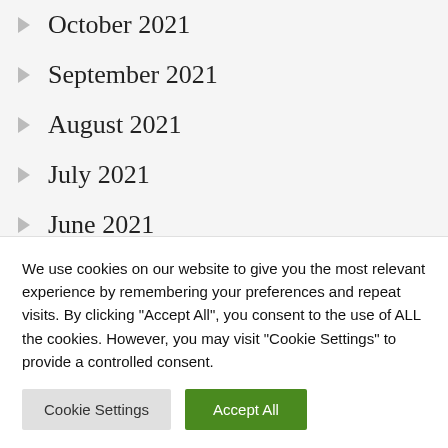October 2021
September 2021
August 2021
July 2021
June 2021
May 2021
April 2021
We use cookies on our website to give you the most relevant experience by remembering your preferences and repeat visits. By clicking "Accept All", you consent to the use of ALL the cookies. However, you may visit "Cookie Settings" to provide a controlled consent.
Cookie Settings | Accept All